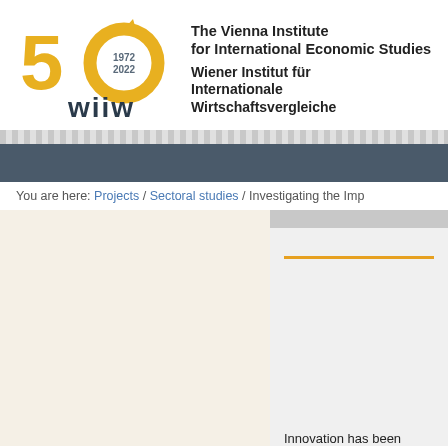[Figure (logo): wiiw 50th anniversary logo (1972-2022) with circular arrows and wiiw wordmark in yellow and dark blue]
The Vienna Institute for International Economic Studies
Wiener Institut für Internationale Wirtschaftsvergleiche
You are here: Projects / Sectoral studies / Investigating the Imp
Innovation has been